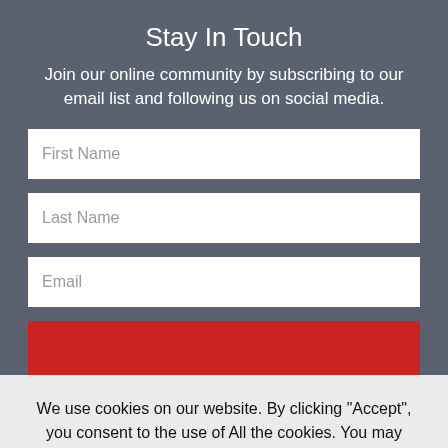Stay In Touch
Join our online community by subscribing to our email list and following us on social media.
First Name
Last Name
Email
We use cookies on our website. By clicking "Accept", you consent to the use of All the cookies. You may change your preference by visiting Cookie Settings. Read more about our Cookie Policy and Privacy Policy.
Cookie Settings
Accept
Decline